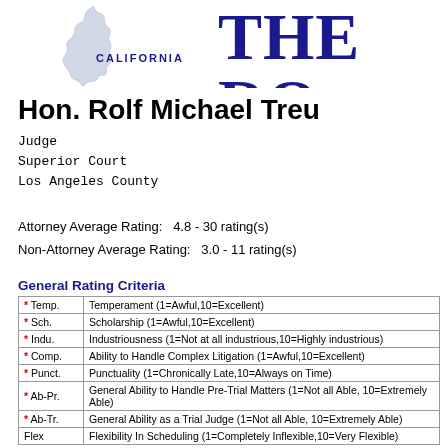CALIFORNIA THE RO
Hon. Rolf Michael Treu
Judge
Superior Court
Los Angeles County
Attorney Average Rating:   4.8 - 30 rating(s)
Non-Attorney Average Rating:   3.0 - 11 rating(s)
General Rating Criteria
| Code | Description |
| --- | --- |
| * Temp. | Temperament (1=Awful,10=Excellent) |
| * Sch. | Scholarship (1=Awful,10=Excellent) |
| * Indu. | Industriousness (1=Not at all industrious,10=Highly industrious) |
| * Comp. | Ability to Handle Complex Litigation (1=Awful,10=Excellent) |
| * Punct. | Punctuality (1=Chronically Late,10=Always on Time) |
| * Ab-Pr. | General Ability to Handle Pre-Trial Matters (1=Not all Able, 10=Extremely Able) |
| * Ab-Tr. | General Ability as a Trial Judge (1=Not all Able, 10=Extremely Able) |
| Flex | Flexibility In Scheduling (1=Completely Inflexible,10=Very Flexible) |